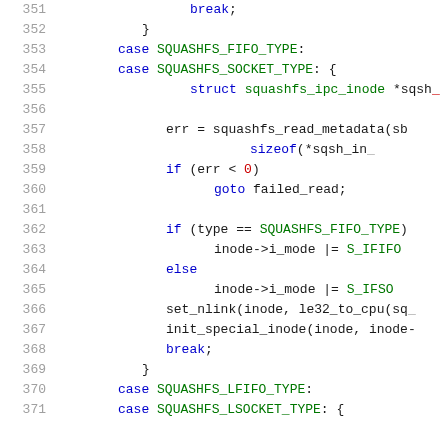[Figure (screenshot): Source code listing showing lines 351-371 of a C file implementing squashfs inode handling. Lines show case statements for SQUASHFS_FIFO_TYPE and SQUASHFS_SOCKET_TYPE with struct declaration, metadata read, error check, mode setting with S_IFIFO/S_IFSOCK, set_nlink, init_special_inode, and break. Also shows SQUASHFS_LFIFO_TYPE and SQUASHFS_LSOCKET_TYPE cases beginning.]